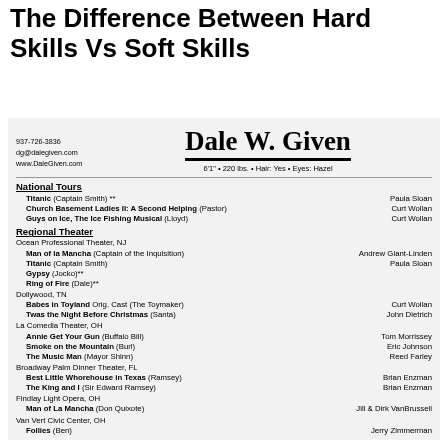The Difference Between Hard Skills Vs Soft Skills
937-726-3836
dg@dalegiven.com
www.DaleGiven.com
Dale W. Given
6'1" • 220 lbs. • Hair: Yes • Eyes: Hazel
National Tours
Titanic (Captain Smith) **  |  Paula Sloan
Church Basement Ladies II: A Second Helping (Pastor)  |  Curt Wollan
Guys on Ice, The Ice Fishing Musical (Lloyd)  |  Curt Wollan
Regional Theater
Ocean Professional Theater, NJ
Man of la Mancha (Captain of the Inquisition)  |  Andrew Glant-Linden
Titanic (Captain Smith)  |  Paula Sloan
Gypsy (Jocko)**
Ring of Fire (Dale)**
Dollywood, TN
Babes in Toyland Orig. Cast (The Toymaker)  |  Curt Wollan
Twas the Night Before Christmas (Santa)  |  John Dietrich
La Comedia Theater, OH
Annie Get Your Gun (Buffalo Bill)  |  Tom Morrissey
Smoke on the Mountain (Burl)  |  Eric Johnson
The Music Man (Mayor Shinn)  |  Reed Farley
Broadway Palm Dinner Theater, FL
Best Little Whorehouse in Texas (Ramsey)  |  Brian Enzman
The King and I (Sir Edward Ramsey)  |  Brian Enzman
Findlay Light Opera, OH
Man of La Mancha (Don Quixote)  |  Jill & Dirk VanBrussell
Van Vert Civic Center, OH
Follies (Ben)  |  Jerry Zimmerman